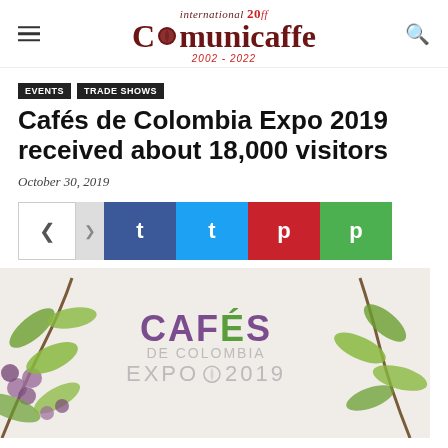international ComuniCaffe 20ff 2002-2022
EVENTS
TRADE SHOWS
Cafés de Colombia Expo 2019 received about 18,000 visitors
October 30, 2019
[Figure (illustration): Social share buttons: share toggle, Facebook, Twitter, Pinterest, WhatsApp]
[Figure (logo): Cafés de Colombia Expo 2019 logo with coffee branch decorations on left and right sides]